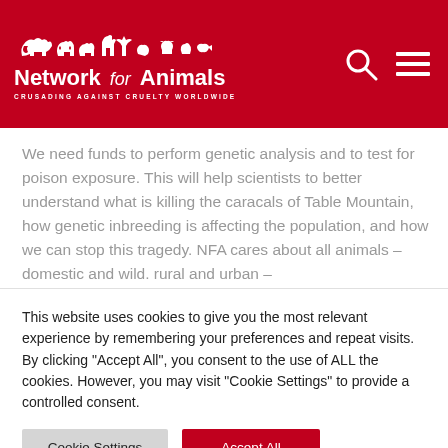Network for Animals — CRUSADING AGAINST CRUELTY WORLDWIDE
We need funds to perform genetic analysis and to test for poison exposure. This will help scientists to better understand what is killing the caracals of Table Mountain, how genetic inbreeding is affecting the population, and how we can stop this tragedy. NFA cares about all animals – domestic and wild. rural and urban –
This website uses cookies to give you the most relevant experience by remembering your preferences and repeat visits. By clicking "Accept All", you consent to the use of ALL the cookies. However, you may visit "Cookie Settings" to provide a controlled consent.
Cookie Settings | Accept All